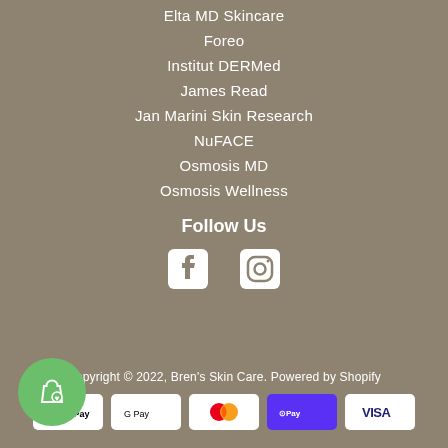Elta MD Skincare
Foreo
Institut DERMed
James Read
Jan Marini Skin Research
NuFACE
Osmosis MD
Osmosis Wellness
Follow Us
[Figure (illustration): Facebook and Instagram social media icons in white]
Copyright © 2022, Bren's Skin Care. Powered by Shopify
[Figure (illustration): Payment icons: Apple Pay, Google Pay, Mastercard, ShopPay, Visa]